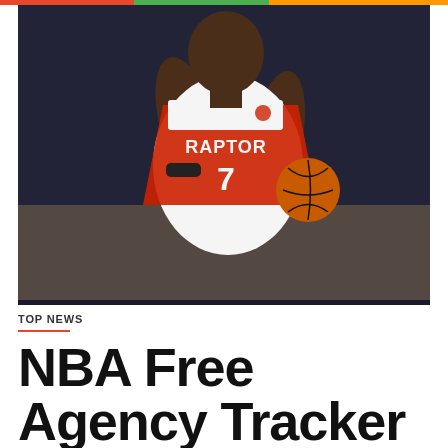[Figure (photo): Basketball player wearing Toronto Raptors white jersey number 7 holding a basketball, photographed during a game]
TOP NEWS
NBA Free Agency Tracker 2021: Chris Paul returns to the